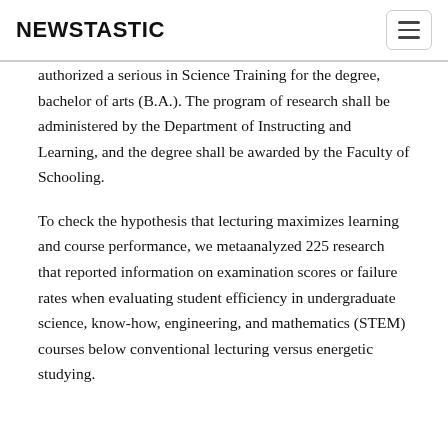NEWSTASTIC
authorized a serious in Science Training for the degree, bachelor of arts (B.A.). The program of research shall be administered by the Department of Instructing and Learning, and the degree shall be awarded by the Faculty of Schooling.
To check the hypothesis that lecturing maximizes learning and course performance, we metaanalyzed 225 research that reported information on examination scores or failure rates when evaluating student efficiency in undergraduate science, know-how, engineering, and mathematics (STEM) courses below conventional lecturing versus energetic studying.